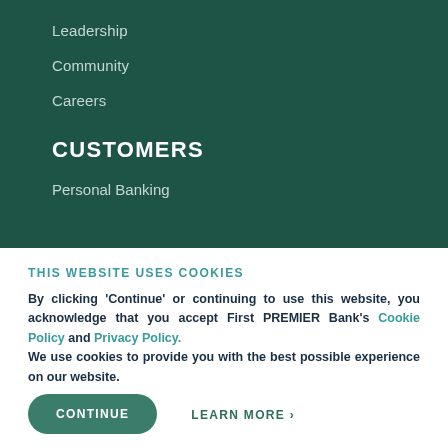Leadership
Community
Careers
CUSTOMERS
Personal Banking
THIS WEBSITE USES COOKIES
By clicking 'Continue' or continuing to use this website, you acknowledge that you accept First PREMIER Bank's Cookie Policy and Privacy Policy. We use cookies to provide you with the best possible experience on our website.
CONTINUE
LEARN MORE >